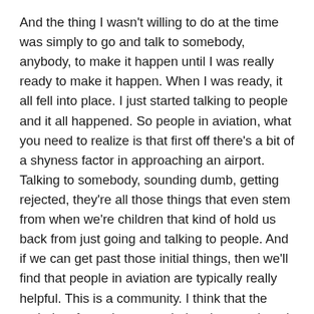And the thing I wasn't willing to do at the time was simply to go and talk to somebody, anybody, to make it happen until I was really ready to make it happen. When I was ready, it all fell into place. I just started talking to people and it all happened. So people in aviation, what you need to realize is that first off there's a bit of a shyness factor in approaching an airport. Talking to somebody, sounding dumb, getting rejected, they're all those things that even stem from when we're children that kind of hold us back from just going and talking to people. And if we can get past those initial things, then we'll find that people in aviation are typically really helpful. This is a community. I think that the majority of people want to help others and, and help them improve their position in aviation and certainly willing to share local knowledge about what is available in the area.
So just know that right out the gate that people are really